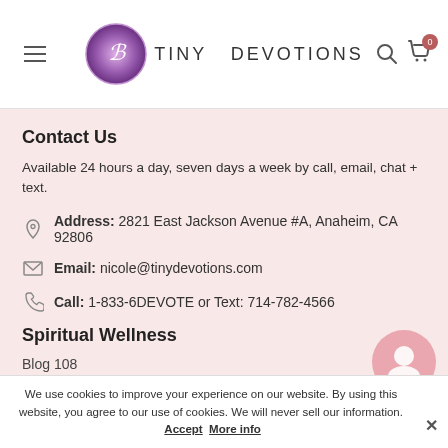Tiny Devotions — navigation header with logo, menu, search and cart icons
Contact Us
Available 24 hours a day, seven days a week by call, email, chat + text.
Address: 2821 East Jackson Avenue #A, Anaheim, CA 92806
Email: nicole@tinydevotions.com
Call: 1-833-6DEVOTE or Text: 714-782-4566
Spiritual Wellness
Blog 108
We use cookies to improve your experience on our website. By using this website, you agree to our use of cookies. We will never sell our information. Accept More info